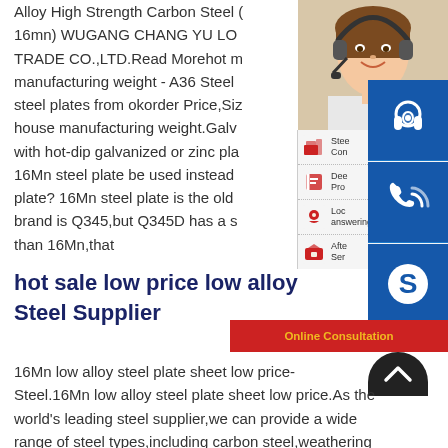Alloy High Strength Carbon Steel (16mn) WUGANG CHANG YU LO TRADE CO.,LTD.Read Morehot manufacturing weight - A36 Steel steel plates from okorder Price,Si house manufacturing weight.Galv with hot-dip galvanized or zinc pl 16Mn steel plate be used instead plate? 16Mn steel plate is the old brand is Q345,but Q345D has a s than 16Mn,that
[Figure (photo): Customer service representative woman with headset smiling]
[Figure (infographic): Service menu with icons: Steel Construction, Deep Processing, Local answering, After Service]
[Figure (illustration): Blue panel with three icons: headset/customer service, phone/call, Skype logo]
hot sale low price low alloy Steel Supplier
16Mn low alloy steel plate sheet low price- Steel.16Mn low alloy steel plate sheet low price.As the world's leading steel supplier,we can provide a wide range of steel types,including carbon steel,weathering steel,boiler steel,structural steel,etc.,and we can meet customers' requirements in any size,as well as 16Mn low alloy steel plate sheet low price. CBD Steel16Mn